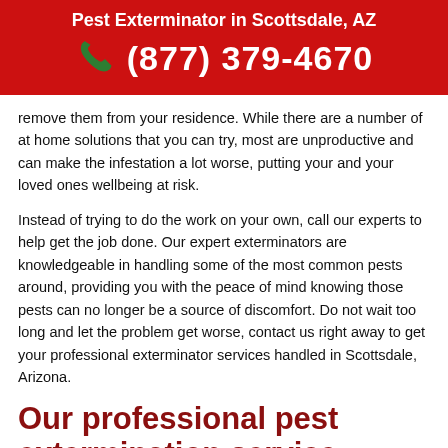Pest Exterminator in Scottsdale, AZ
(877) 379-4670
remove them from your residence. While there are a number of at home solutions that you can try, most are unproductive and can make the infestation a lot worse, putting your and your loved ones wellbeing at risk.
Instead of trying to do the work on your own, call our experts to help get the job done. Our expert exterminators are knowledgeable in handling some of the most common pests around, providing you with the peace of mind knowing those pests can no longer be a source of discomfort. Do not wait too long and let the problem get worse, contact us right away to get your professional exterminator services handled in Scottsdale, Arizona.
Our professional pest extermination service options